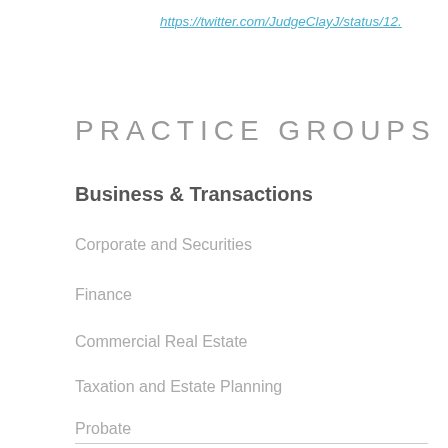https://twitter.com/JudgeClayJ/status/12.
PRACTICE GROUPS
Business & Transactions
Corporate and Securities
Finance
Commercial Real Estate
Taxation and Estate Planning
Probate